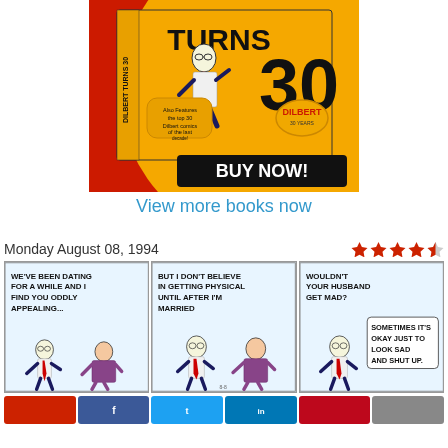[Figure (illustration): Dilbert Turns 30 book cover advertisement with a 'BUY NOW!' button. Red and orange background with Dilbert character and large '30'. Text reads 'Also Features the top 30 Dilbert comics of the last decade!' with Dilbert logo.]
View more books now
Monday August 08, 1994
[Figure (illustration): Three-panel Dilbert comic strip from Monday August 08, 1994. Panel 1: 'WE'VE BEEN DATING FOR A WHILE AND I FIND YOU ODDLY APPEALING...' Panel 2: 'BUT I DON'T BELIEVE IN GETTING PHYSICAL UNTIL AFTER I'M MARRIED' Panel 3: 'WOULDN'T YOUR HUSBAND GET MAD? SOMETIMES IT'S OKAY JUST TO LOOK SAD AND SHUT UP.']
[Figure (illustration): Row of social sharing buttons at bottom of page in red, dark blue (Facebook), light blue (Twitter), blue (LinkedIn), red (Pinterest), and grey (email).]